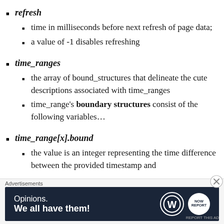refresh
time in milliseconds before next refresh of page data;
a value of -1 disables refreshing
time_ranges
the array of bound_structures that delineate the cute descriptions associated with time_ranges
time_range's boundary structures consist of the following variables…
time_range[x].bound
the value is an integer representing the time difference between the provided timestamp and
Advertisements
[Figure (other): Advertisement banner: 'Opinions. We all have them!' with WordPress and another logo on dark navy background]